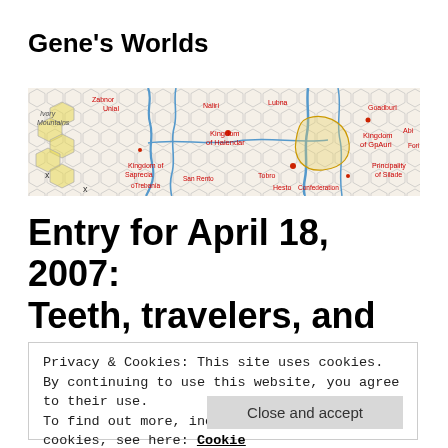Gene's Worlds
[Figure (map): A hand-drawn hex map showing fantasy world geography with kingdoms including Ivory Mountains, Kingdom of Halendar, Kingdom of GpAuri, Principality of Silade, Kingdom of Saprecia, Trebania, San Rento, Hesto, Tobro, Confederation, and other labeled regions with blue rivers and colored hexes.]
Entry for April 18, 2007: Teeth, travelers, and
Privacy & Cookies: This site uses cookies. By continuing to use this website, you agree to their use.
To find out more, including how to control cookies, see here: Cookie Policy
Close and accept